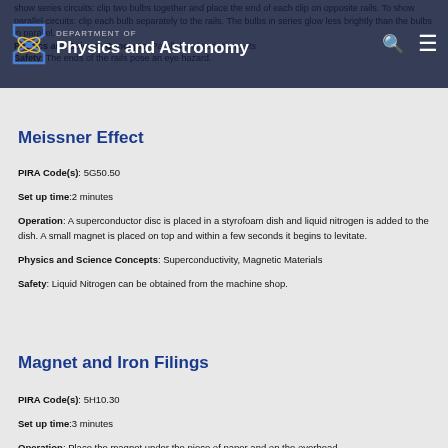Department of Physics and Astronomy
show series circuits: clip two bulbs together and place the end of each clip on opposite rails. To show parallel circuits: clip each bulb separately to the rails. The bulbs in series glow less brightly than the bulbs in parallel.
Physics and Science Concepts: Parallel and series circuits
Safety: The ends of the rails pose an eye hazard.
Meissner Effect
PIRA Code(s): 5G50.50
Set up time: 2 minutes
Operation: A superconductor disc is placed in a styrofoam dish and liquid nitrogen is added to the dish. A small magnet is placed on top and within a few seconds it begins to levitate.
Physics and Science Concepts: Superconductivity, Magnetic Materials
Safety: Liquid Nitrogen can be obtained from the machine shop.
Magnet and Iron Filings
PIRA Code(s): 5H10.30
Set up time: 3 minutes
Operation: Place the magnet under the piece of paper and on the overhead.